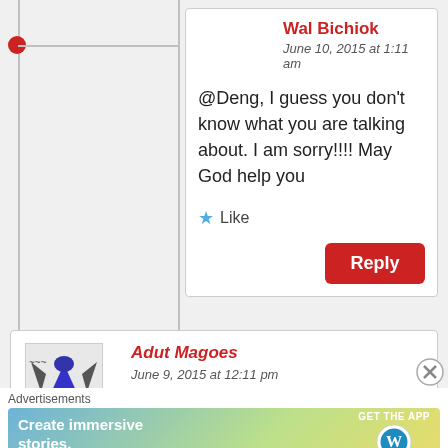Wal Bichiok
June 10, 2015 at 1:11 am
@Deng, I guess you don't know what you are talking about. I am sorry!!!! May God help you
★ Like
Reply
Adut Magoes
June 9, 2015 at 12:11 pm
Advertisements
[Figure (infographic): Advertisement banner with gradient background (blue to green to yellow), text 'Create immersive stories.' on left, 'GET THE APP' and WordPress logo on right]